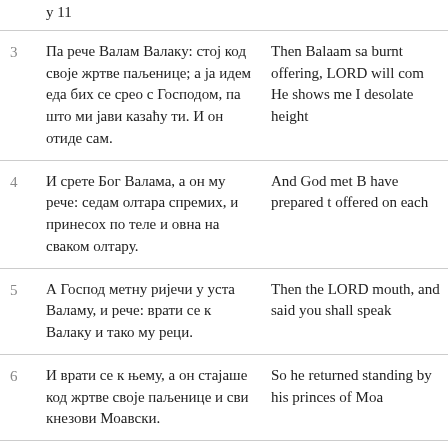| # | Serbian | English |
| --- | --- | --- |
|  | у 11 |  |
| 3 | Па рече Валам Валаку: стој код своје жртве паљенице; а ја идем еда бих се срео с Господом, па што ми јави казаћу ти. И он отиде сам. | Then Balaam sa burnt offering, LORD will com He shows me I desolate height |
| 4 | И срете Бог Валама, а он му рече: седам олтара спремих, и принесох по теле и овна на сваком олтару. | And God met B have prepared t offered on each |
| 5 | А Господ метну ријечи у уста Валаму, и рече: врати се к Валаку и тако му реци. | Then the LORD mouth, and said you shall speak |
| 6 | И врати се к њему, а он стајаше код жртве своје паљенице и сви кнезови Моавски. | So he returned standing by his princes of Moa |
| 7 | А он отвори причу своју, и рече: из Арама | And he took up |